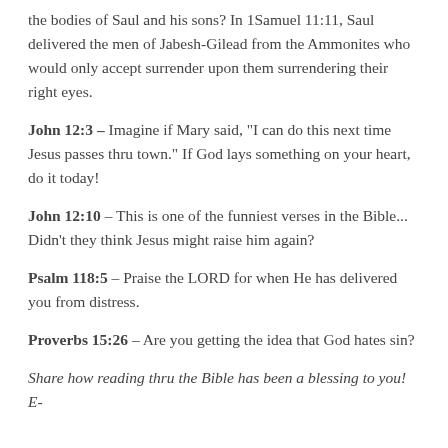the bodies of Saul and his sons? In 1Samuel 11:11, Saul delivered the men of Jabesh-Gilead from the Ammonites who would only accept surrender upon them surrendering their right eyes.
John 12:3 – Imagine if Mary said, “I can do this next time Jesus passes thru town.” If God lays something on your heart, do it today!
John 12:10 – This is one of the funniest verses in the Bible... Didn’t they think Jesus might raise him again?
Psalm 118:5 – Praise the LORD for when He has delivered you from distress.
Proverbs 15:26 – Are you getting the idea that God hates sin?
Share how reading thru the Bible has been a blessing to you! E-